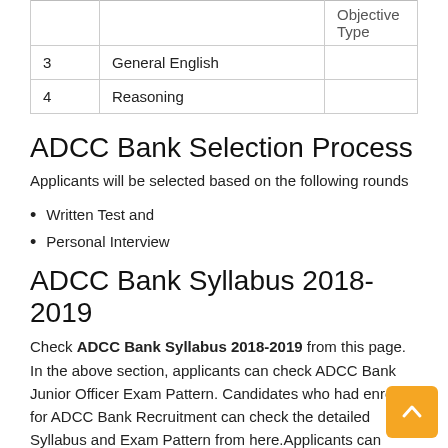|  |  | Objective Type |
| --- | --- | --- |
| 3 | General English |  |
| 4 | Reasoning |  |
ADCC Bank Selection Process
Applicants will be selected based on the following rounds
Written Test and
Personal Interview
ADCC Bank Syllabus 2018-2019
Check ADCC Bank Syllabus 2018-2019 from this page. In the above section, applicants can check ADCC Bank Junior Officer Exam Pattern. Candidates who had enrolled for ADCC Bank Recruitment can check the detailed Syllabus and Exam Pattern from here.Applicants can download Admit Card before 10 to 15 days from the date to ADCC Bank Written Exami...